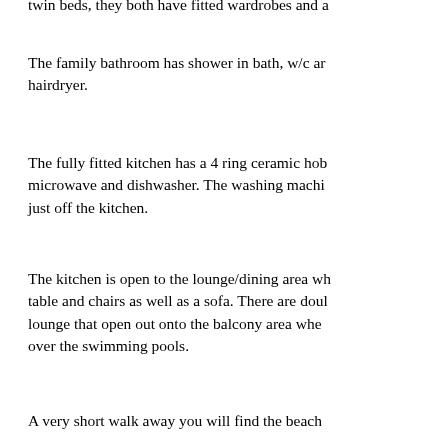twin beds, they both have fitted wardrobes and a
The family bathroom has shower in bath, w/c an hairdryer.
The fully fitted kitchen has a 4 ring ceramic hob microwave and dishwasher. The washing machi just off the kitchen.
The kitchen is open to the lounge/dining area wh table and chairs as well as a sofa. There are doul lounge that open out onto the balcony area whe over the swimming pools.
A very short walk away you will find the beach all the amenities you should need such as paras and toilets. The main strip in Cala Egos where y and restaurants is just a 5 minute walk away.
No animals please.
This apartment sleeps up to 4 people.
Price: from £465 (517 euros)
Click here to see prices